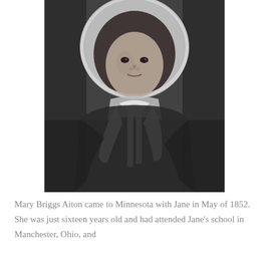[Figure (photo): Black and white historical photograph of a woman wearing a bonnet tied under her chin with a large bow/ribbon at the front of her chest, dressed in period clothing consistent with mid-19th century style.]
Mary Briggs Aiton came to Minnesota with Jane in May of 1852. She was just sixteen years old and had attended Jane's school in Manchester, Ohio, and...